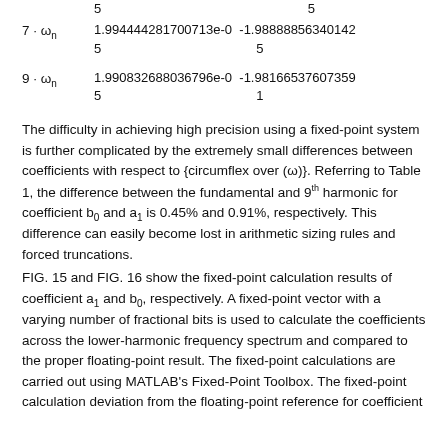|  | 5 |  | 5 |
| 7 · ω_n | 1.994444281700713e-05 | -1.98888856340142 5 |
| 9 · ω_n | 1.990832688036796e-05 | -1.98166537607359 1 |
The difficulty in achieving high precision using a fixed-point system is further complicated by the extremely small differences between coefficients with respect to {circumflex over (ω)}. Referring to Table 1, the difference between the fundamental and 9th harmonic for coefficient b0 and a1 is 0.45% and 0.91%, respectively. This difference can easily become lost in arithmetic sizing rules and forced truncations.
FIG. 15 and FIG. 16 show the fixed-point calculation results of coefficient a1 and b0, respectively. A fixed-point vector with a varying number of fractional bits is used to calculate the coefficients across the lower-harmonic frequency spectrum and compared to the proper floating-point result. The fixed-point calculations are carried out using MATLAB's Fixed-Point Toolbox. The fixed-point calculation deviation from the floating-point reference for coefficient